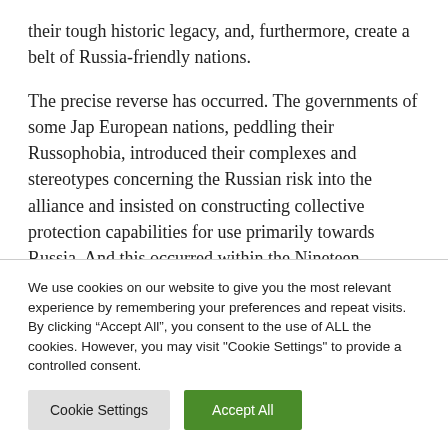their tough historic legacy, and, furthermore, create a belt of Russia-friendly nations.
The precise reverse has occurred. The governments of some Jap European nations, peddling their Russophobia, introduced their complexes and stereotypes concerning the Russian risk into the alliance and insisted on constructing collective protection capabilities for use primarily towards Russia. And this occurred within the Nineteen
We use cookies on our website to give you the most relevant experience by remembering your preferences and repeat visits. By clicking “Accept All”, you consent to the use of ALL the cookies. However, you may visit "Cookie Settings" to provide a controlled consent.